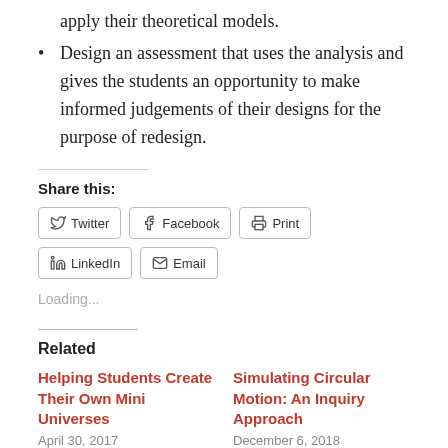apply their theoretical models.
Design an assessment that uses the analysis and gives the students an opportunity to make informed judgements of their designs for the purpose of redesign.
Share this:
Twitter Facebook Print LinkedIn Email
Loading...
Related
Helping Students Create Their Own Mini Universes
April 30, 2017
In "Computer Science"
Simulating Circular Motion: An Inquiry Approach
December 6, 2018
In "APT Year Two"